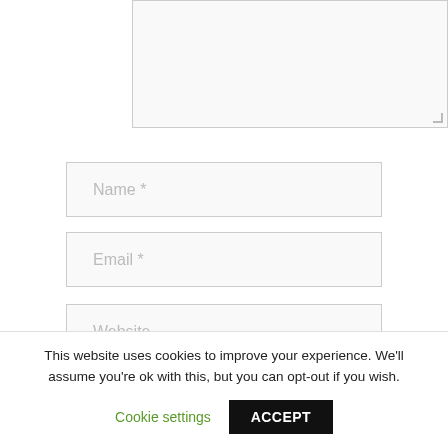[Figure (screenshot): Textarea input box (comment field), partially visible at top]
[Figure (screenshot): Text input field with placeholder 'Name *']
[Figure (screenshot): Text input field with placeholder 'Email *']
[Figure (screenshot): Text input field with placeholder 'Website']
Save my name, email, and website in this browser for the next time I comment.
This website uses cookies to improve your experience. We'll assume you're ok with this, but you can opt-out if you wish.
Cookie settings
ACCEPT